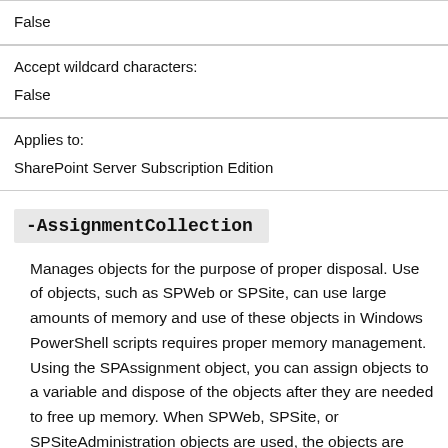| Accept wildcard characters: | False |
| Applies to: | SharePoint Server Subscription Edition |
-AssignmentCollection
Manages objects for the purpose of proper disposal. Use of objects, such as SPWeb or SPSite, can use large amounts of memory and use of these objects in Windows PowerShell scripts requires proper memory management. Using the SPAssignment object, you can assign objects to a variable and dispose of the objects after they are needed to free up memory. When SPWeb, SPSite, or SPSiteAdministration objects are used, the objects are automatically disposed of if an assignment